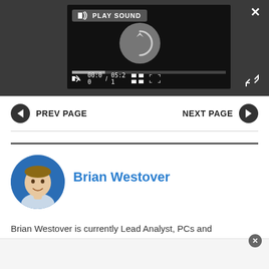[Figure (screenshot): Video player UI with dark background, showing a circular loading indicator, progress bar, time display '00:00 / 05:21', mute button, grid view icon, and fullscreen icon. A 'PLAY SOUND' label with speaker icon is shown at top. An X close button and expand arrows are also visible.]
PREV PAGE
NEXT PAGE
Brian Westover
Brian Westover is currently Lead Analyst, PCs and